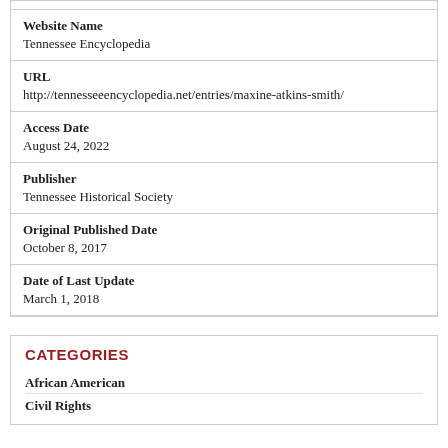| Website Name | Tennessee Encyclopedia |
| URL | http://tennesseeencyclopedia.net/entries/maxine-atkins-smith/ |
| Access Date | August 24, 2022 |
| Publisher | Tennessee Historical Society |
| Original Published Date | October 8, 2017 |
| Date of Last Update | March 1, 2018 |
CATEGORIES
African American
Civil Rights